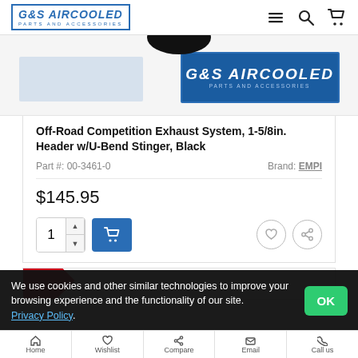G&S AIRCOOLED PARTS AND ACCESSORIES - Navigation header with logo, menu, search and cart icons
[Figure (screenshot): Product image area showing partial exhaust system component (black) at top, G&S Aircooled logo watermark on right side, and a light blue placeholder image on the left]
Off-Road Competition Exhaust System, 1-5/8in. Header w/U-Bend Stinger, Black
Part #: 00-3461-0
Brand: EMPI
$145.95
Quantity selector: 1, Add to cart button, Wishlist and Compare action icons
[Figure (screenshot): Partial view of second product card with red sale badge corner]
We use cookies and other similar technologies to improve your browsing experience and the functionality of our site. Privacy Policy.
Home   Wishlist   Compare   Email   Call us